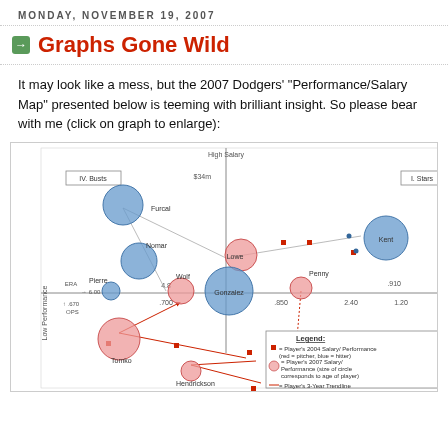MONDAY, NOVEMBER 19, 2007
Graphs Gone Wild
It may look like a mess, but the 2007 Dodgers' "Performance/Salary Map" presented below is teeming with brilliant insight. So please bear with me (click on graph to enlarge):
[Figure (bubble-chart): 2007 Dodgers Performance/Salary Map bubble chart. X-axis shows performance metrics (OPS from .670 to .910, ERA from 6.00 to 1.20). Y-axis shows salary (High Salary at top, $34m marked). Quadrants labeled: IV. Busts (upper left), I. Stars (upper right). Players shown as blue (hitter) or pink (pitcher) circles sized by age: Furcal (large blue, upper left), Nomar (large blue, middle left), Pierre (small blue, left), Lowe (pink, upper center), Gonzalez (large blue, center), Kent (large blue, right), Penny (pink, center-right), Wolf (pink, center), Tomko (large pink, lower left), Hendrickson (pink, lower center). Red squares show 2004 salary/performance. Red arrows show 3-year trendlines. Legend: red square = Player's 2004 Salary/Performance (red=pitcher, blue=hitter); circle = Player's 2007 Salary/Performance (size corresponds to age); red arrow = Player's 3-Year Trendline.]